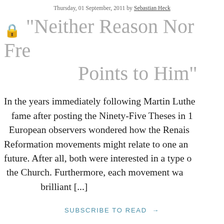Thursday, 01 September, 2011 by Sebastian Heck
"Neither Reason Nor Fre… Points to Him"
In the years immediately following Martin Luthe… fame after posting the Ninety-Five Theses in 1… European observers wondered how the Renais… Reformation movements might relate to one an… future. After all, both were interested in a type o… the Church. Furthermore, each movement wa… brilliant [...]
SUBSCRIBE TO READ →